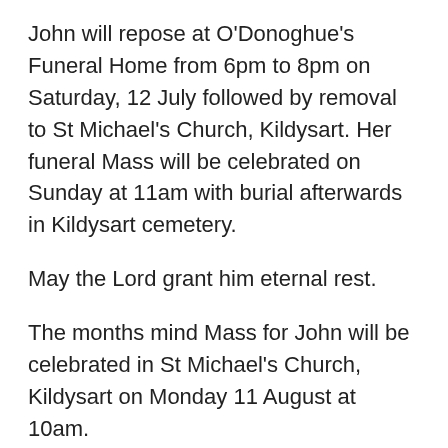John will repose at O'Donoghue's Funeral Home from 6pm to 8pm on Saturday, 12 July followed by removal to St Michael's Church, Kildysart. Her funeral Mass will be celebrated on Sunday at 11am with burial afterwards in Kildysart cemetery.
May the Lord grant him eternal rest.
The months mind Mass for John will be celebrated in St Michael's Church, Kildysart on Monday 11 August at 10am.
+++++++++++++++++++++++++++++++
You are asked to remember in prayer Mary Casey Deerpark, Doora and formerly of Kings Road, Kildysart who died on 21 May 2014. We offer our sympathy to her sister Sandra, niece Margaret, nephew Michael & Patricia,